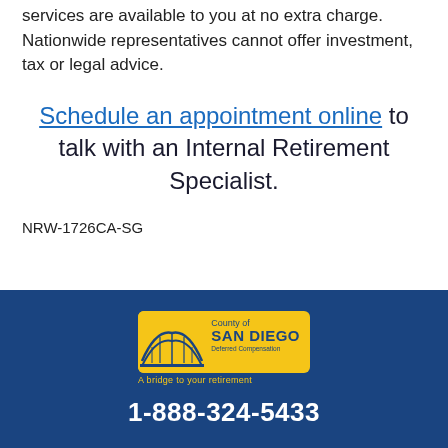services are available to you at no extra charge. Nationwide representatives cannot offer investment, tax or legal advice.
Schedule an appointment online to talk with an Internal Retirement Specialist.
NRW-1726CA-SG
[Figure (logo): County of San Diego Deferred Compensation logo with bridge graphic and tagline 'A bridge to your retirement']
1-888-324-5433